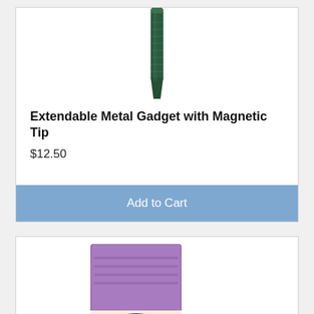[Figure (photo): Dark green extendable metal tool with magnetic tip, shown vertically, only the lower portion visible]
Extendable Metal Gadget with Magnetic Tip
$12.50
Add to Cart
[Figure (photo): Wrights brand Bias Tape Extra Wide Double Fold in purple/lavender color, showing the label with text in English, French, and Spanish]